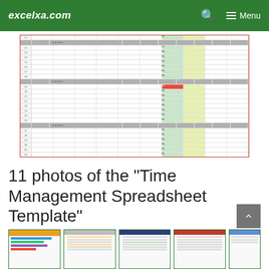excelxa.com — Menu
[Figure (screenshot): Spreadsheet preview showing a time management template with multiple rows and columns, green highlighted column, and gray section header rows]
11 photos of the "Time Management Spreadsheet Template"
[Figure (screenshot): Row of 5 thumbnail images of time management spreadsheet templates]